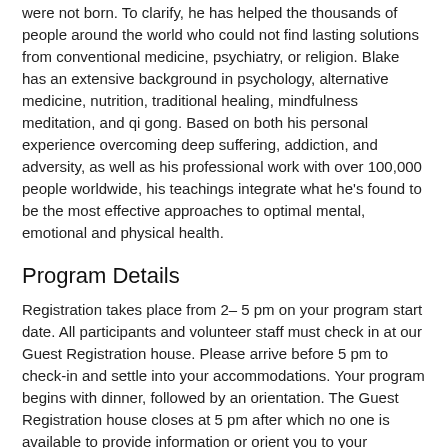were not born. To clarify, he has helped the thousands of people around the world who could not find lasting solutions from conventional medicine, psychiatry, or religion. Blake has an extensive background in psychology, alternative medicine, nutrition, traditional healing, mindfulness meditation, and qi gong. Based on both his personal experience overcoming deep suffering, addiction, and adversity, as well as his professional work with over 100,000 people worldwide, his teachings integrate what he's found to be the most effective approaches to optimal mental, emotional and physical health.
Program Details
Registration takes place from 2– 5 pm on your program start date. All participants and volunteer staff must check in at our Guest Registration house. Please arrive before 5 pm to check-in and settle into your accommodations. Your program begins with dinner, followed by an orientation. The Guest Registration house closes at 5 pm after which no one is available to provide information or orient you to your accommodations. All programs usually end at 12:30 pm on the program's departure date, followed by lunch. Further specifics regarding your program's schedule will be available upon arrival. If applicable, you will receive an email from the program coordinator in the week prior to your program with any additional information you may need.